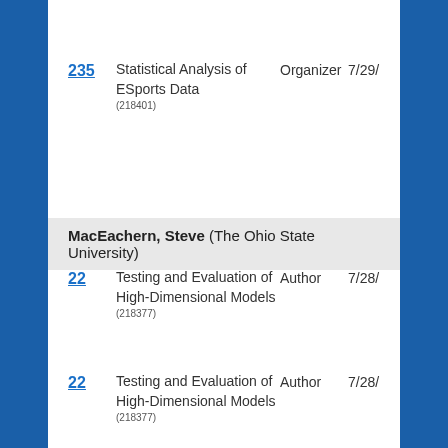235 (218401) Statistical Analysis of ESports Data  Organizer  7/29/
MacEachern, Steve (The Ohio State University)
22 (218377) Testing and Evaluation of High-Dimensional Models  Author  7/28/
22 (218377) Testing and Evaluation of High-Dimensional Models  Author  7/28/